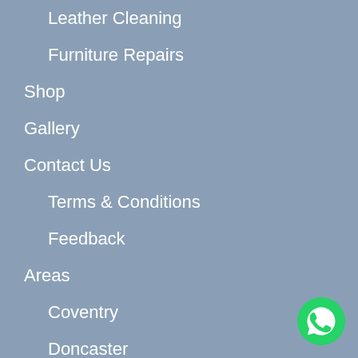Leather Cleaning
Furniture Repairs
Shop
Gallery
Contact Us
Terms & Conditions
Feedback
Areas
Coventry
Doncaster
Essex
Hampshire
Hertfordshire
Hull
Preston
Nottingham
[Figure (logo): WhatsApp green circular icon button in bottom-right corner]